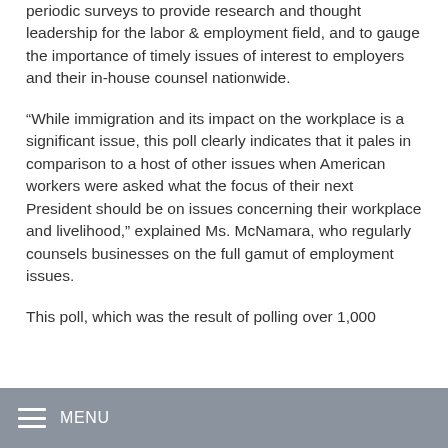periodic surveys to provide research and thought leadership for the labor & employment field, and to gauge the importance of timely issues of interest to employers and their in-house counsel nationwide.
“While immigration and its impact on the workplace is a significant issue, this poll clearly indicates that it pales in comparison to a host of other issues when American workers were asked what the focus of their next President should be on issues concerning their workplace and livelihood,” explained Ms. McNamara, who regularly counsels businesses on the full gamut of employment issues.
This poll, which was the result of polling over 1,000
MENU